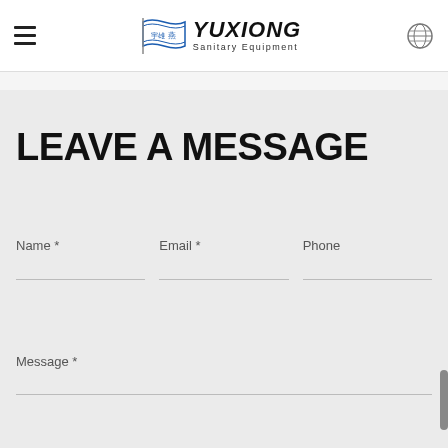YUXIONG Sanitary Equipment — navigation header with hamburger menu and globe icon
LEAVE A MESSAGE
Name *
Email *
Phone
Message *